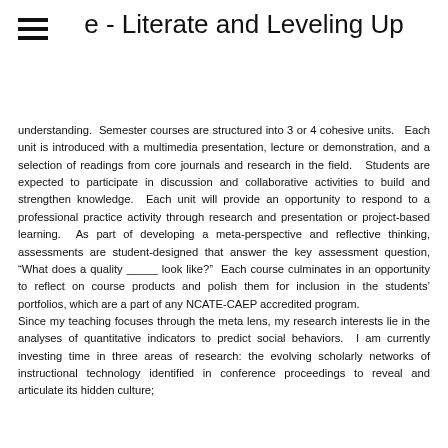e - Literate and Leveling Up
understanding.  Semester courses are structured into 3 or 4 cohesive units.  Each unit is introduced with a multimedia presentation, lecture or demonstration, and a selection of readings from core journals and research in the field.  Students are expected to participate in discussion and collaborative activities to build and strengthen knowledge.  Each unit will provide an opportunity to respond to a professional practice activity through research and presentation or project-based learning.  As part of developing a meta-perspective and reflective thinking, assessments are student-designed that answer the key assessment question, “What does a quality _____ look like?”  Each course culminates in an opportunity to reflect on course products and polish them for inclusion in the students’ portfolios, which are a part of any NCATE-CAEP accredited program.
Since my teaching focuses through the meta lens, my research interests lie in the analyses of quantitative indicators to predict social behaviors.  I am currently investing time in three areas of research: the evolving scholarly networks of instructional technology identified in conference proceedings to reveal and articulate its hidden culture;